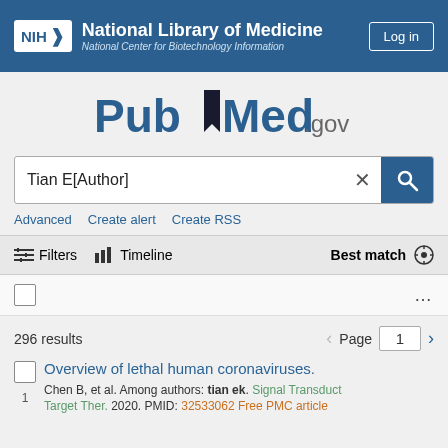NIH National Library of Medicine National Center for Biotechnology Information | Log in
[Figure (logo): PubMed.gov logo with blue bookmark icon]
Tian E[Author]
Advanced  Create alert  Create RSS
Filters  Timeline  Best match
296 results  Page 1
Overview of lethal human coronaviruses.
Chen B, et al. Among authors: tian ek. Signal Transduct Target Ther. 2020. PMID: 32533062 Free PMC article.